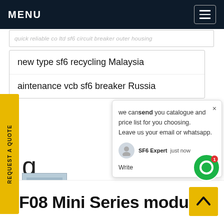MENU
new type sf6 recycling Malaysia
aintenance vcb sf6 breaker Russia
q
40 5kv 33kv sf6 outdoor circuit breaker
we cansend you catalogue and price list for you choosing. Leave us your email or whatsapp.
SF6 Expert just now
Write
RF08 Mini Series modular
[Figure (screenshot): Screenshot of a website showing MENU navigation bar, search results for SF6 products, a live chat popup with agent message, a yellow REQUEST A QUOTE sidebar button, and the beginning of a product page for RF08 Mini Series modular.]